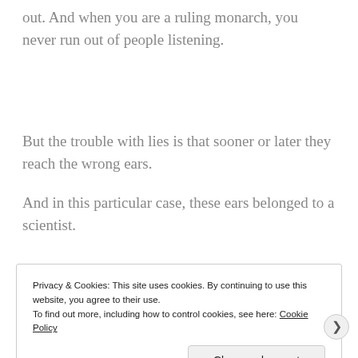out. And when you are a ruling monarch, you never run out of people listening.
But the trouble with lies is that sooner or later they reach the wrong ears.
And in this particular case, these ears belonged to a scientist.
Privacy & Cookies: This site uses cookies. By continuing to use this website, you agree to their use.
To find out more, including how to control cookies, see here: Cookie Policy
Close and accept